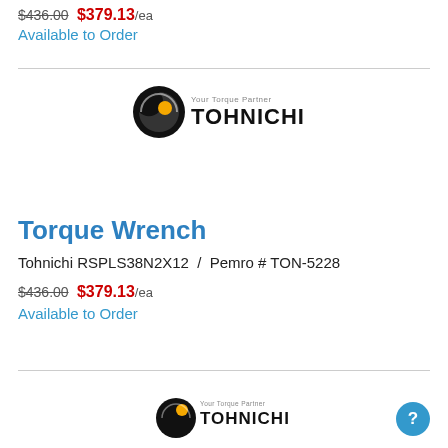$436.00  $379.13/ea
Available to Order
[Figure (logo): Tohnichi 'Your Torque Partner' brand logo]
Torque Wrench
Tohnichi RSPLS38N2X12  /  Pemro # TON-5228
$436.00  $379.13/ea
Available to Order
[Figure (logo): Tohnichi 'Your Torque Partner' brand logo (partial, bottom of page)]